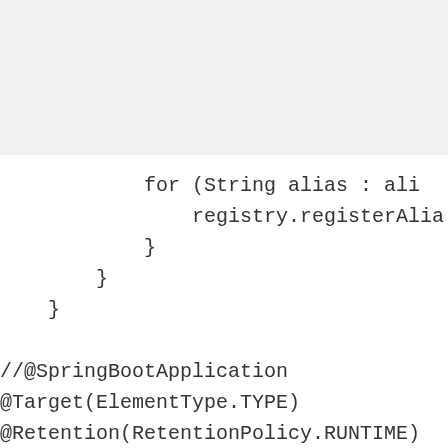for (String alias : ali
                registry.registerAlia
            }
        }
    }

//@SpringBootApplication
@Target(ElementType.TYPE)
@Retention(RetentionPolicy.RUNTIME)